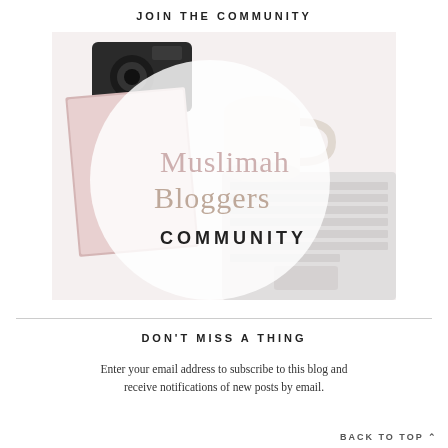JOIN THE COMMUNITY
[Figure (illustration): Muslimah Bloggers Community logo image with laptop and camera on white background, large circle overlay with text 'Muslimah Bloggers COMMUNITY']
DON'T MISS A THING
Enter your email address to subscribe to this blog and receive notifications of new posts by email.
BACK TO TOP ^